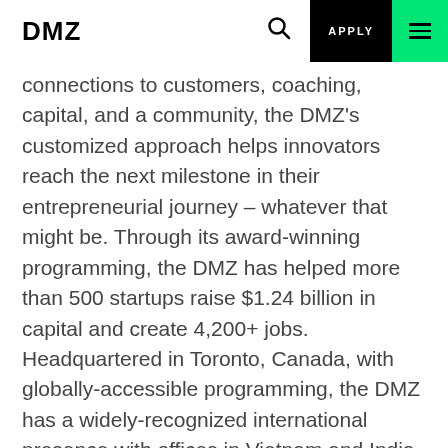DMZ | APPLY
connections to customers, coaching, capital, and a community, the DMZ's customized approach helps innovators reach the next milestone in their entrepreneurial journey – whatever that might be. Through its award-winning programming, the DMZ has helped more than 500 startups raise $1.24 billion in capital and create 4,200+ jobs. Headquartered in Toronto, Canada, with globally-accessible programming, the DMZ has a widely-recognized international presence with offices in Vietnam and India, and 70+ partnerships worldwide.
About Universities of Canada in Egypt